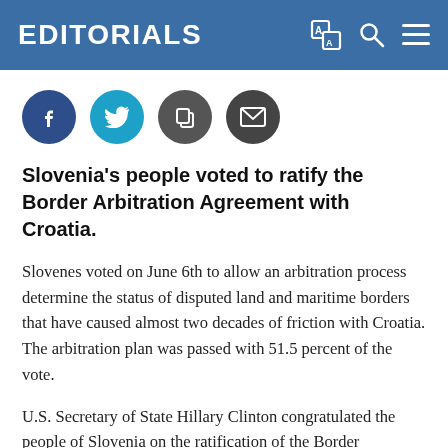EDITORIALS
[Figure (illustration): Social sharing icons: Facebook (blue circle), Twitter (cyan circle), Copy (dark grey circle), Email (dark grey circle)]
Slovenia's people voted to ratify the Border Arbitration Agreement with Croatia.
Slovenes voted on June 6th to allow an arbitration process determine the status of disputed land and maritime borders that have caused almost two decades of friction with Croatia. The arbitration plan was passed with 51.5 percent of the vote.
U.S. Secretary of State Hillary Clinton congratulated the people of Slovenia on the ratification of the Border Arbitration Agreement with Croatia. "Representing...